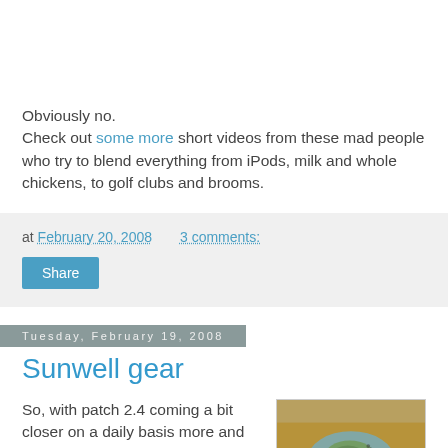Obviously no.
Check out some more short videos from these mad people who try to blend everything from iPods, milk and whole chickens, to golf clubs and brooms.
at February 20, 2008   3 comments:
Share
Tuesday, February 19, 2008
Sunwell gear
So, with patch 2.4 coming a bit closer on a daily basis more and more items are
[Figure (map): A game map image showing terrain in brown and teal tones]